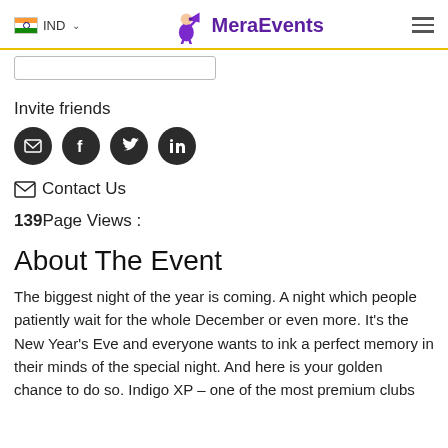IND — MeraEvents
Invite friends
[Figure (other): Social share icons: email, Facebook, Twitter, LinkedIn]
Contact Us
139Page Views :
About The Event
The biggest night of the year is coming. A night which people patiently wait for the whole December or even more. It's the New Year's Eve and everyone wants to ink a perfect memory in their minds of the special night. And here is your golden chance to do so. Indigo XP – one of the most premium clubs